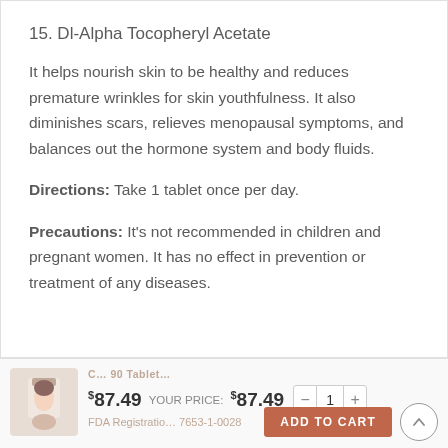15. Dl-Alpha Tocopheryl Acetate
It helps nourish skin to be healthy and reduces premature wrinkles for skin youthfulness. It also diminishes scars, relieves menopausal symptoms, and balances out the hormone system and body fluids.
Directions: Take 1 tablet once per day.
Precautions: It's not recommended in children and pregnant women. It has no effect in prevention or treatment of any diseases.
$87.49  YOUR PRICE: $87.49  - 1 +
FDA Registration ... 7653-1-0028
ADD TO CART